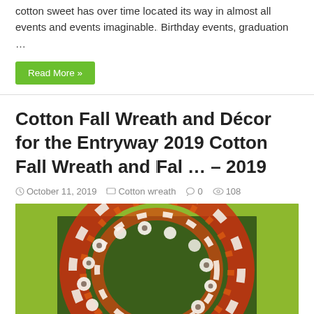cotton sweet has over time located its way in almost all events and events imaginable. Birthday events, graduation …
Read More »
Cotton Fall Wreath and Décor for the Entryway 2019 Cotton Fall Wreath and Fal … – 2019
October 11, 2019  Cotton wreath  0  108
[Figure (photo): A fall wreath made of cotton bolls and red/orange autumn leaves hanging on a bright yellow-green door]